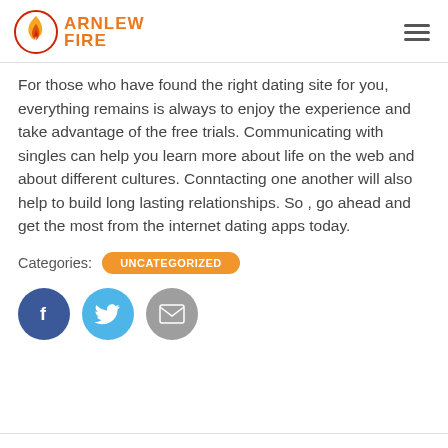[Figure (logo): Arnlew Fire logo with flame icon and orange text reading ARNLEW FIRE]
For those who have found the right dating site for you, everything remains is always to enjoy the experience and take advantage of the free trials. Communicating with singles can help you learn more about life on the web and about different cultures. Conntacting one another will also help to build long lasting relationships. So , go ahead and get the most from the internet dating apps today.
Categories: UNCATEGORIZED
[Figure (illustration): Social share buttons: Facebook (dark blue circle with f), Twitter (light blue circle with bird), Email (gray circle with envelope icon)]